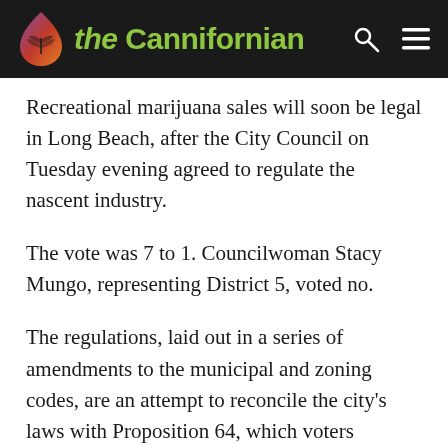the Cannifornian
Recreational marijuana sales will soon be legal in Long Beach, after the City Council on Tuesday evening agreed to regulate the nascent industry.
The vote was 7 to 1. Councilwoman Stacy Mungo, representing District 5, voted no.
The regulations, laid out in a series of amendments to the municipal and zoning codes, are an attempt to reconcile the city's laws with Proposition 64, which voters approved in November 2016; that proposition allowed recreational marijuana in the state, but gave cities the power to decide whether to allow such businesses.